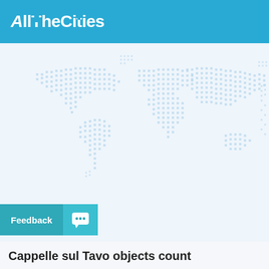AllTheCities
[Figure (map): Dotted world map on light blue-grey background]
Feedback
Cappelle sul Tavo objects count